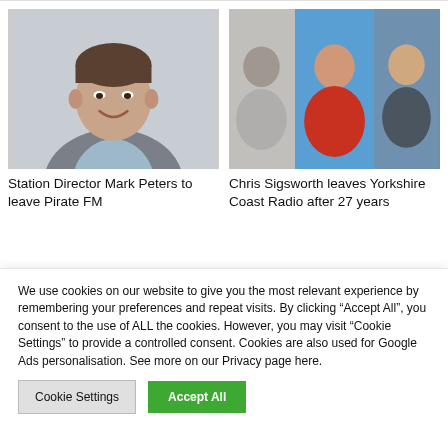[Figure (photo): Portrait photo of Station Director Mark Peters, a man in a grey suit jacket smiling at camera]
Station Director Mark Peters to leave Pirate FM
[Figure (photo): Three photos of Chris Sigsworth at different times in his career]
Chris Sigsworth leaves Yorkshire Coast Radio after 27 years
We use cookies on our website to give you the most relevant experience by remembering your preferences and repeat visits. By clicking “Accept All”, you consent to the use of ALL the cookies. However, you may visit "Cookie Settings" to provide a controlled consent. Cookies are also used for Google Ads personalisation. See more on our Privacy page here.
Cookie Settings
Accept All